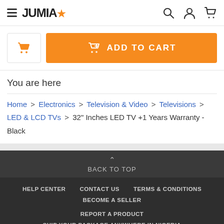JUMIA
[Figure (screenshot): Add to Cart button with phone icon on Jumia e-commerce site]
You are here
Home > Electronics > Television & Video > Televisions > LED & LCD TVs > 32" Inches LED TV +1 Years Warranty - Black
BACK TO TOP | HELP CENTER | CONTACT US | TERMS & CONDITIONS | BECOME A SELLER | REPORT A PRODUCT | SHIP YOUR PACKAGE ANYWHERE IN NIGERIA
This website uses cookies. For further information on how we use cookies you can read our Privacy and Cookie notice